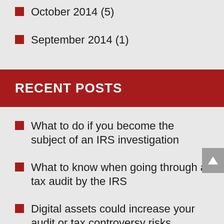October 2014 (5)
September 2014 (1)
RECENT POSTS
What to do if you become the subject of an IRS investigation
What to know when going through a tax audit by the IRS
Digital assets could increase your audit or tax controversy risks
Your right to due process between an IRS levy or lien